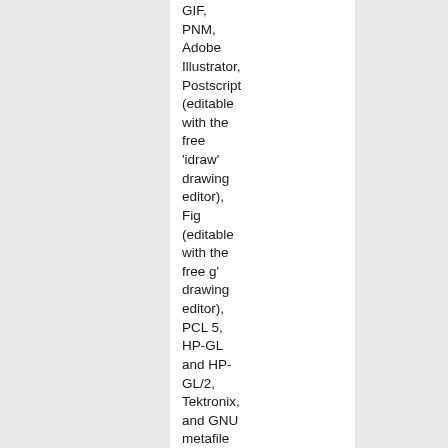GIF, PNM, Adobe Illustrator, Postscript (editable with the free 'idraw' drawing editor), Fig (editable with the free g' drawing editor), PCL 5, HP-GL and HP-GL/2, Tektronix, and GNU metafile format. Many Postscript, PCL, and Hershey fonts are supported. A